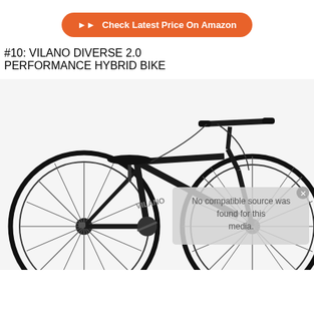[Figure (other): Orange rounded-rectangle button with white text and double-arrow icon: 'Check Latest Price On Amazon']
#10: VILANO DIVERSE 2.0 PERFORMANCE HYBRID BIKE
[Figure (photo): Photo of a black Vilano Diverse 2.0 performance hybrid bike against a white background, with an overlay notice reading 'No compatible source was found for this media.']